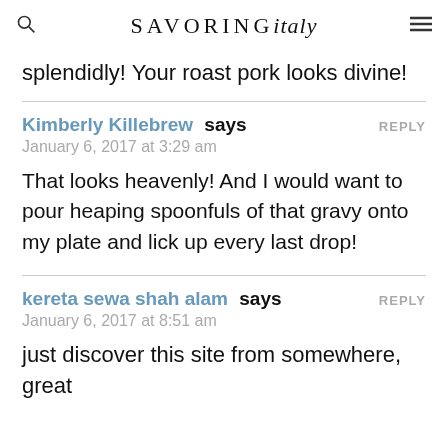SAVORING italy
splendidly! Your roast pork looks divine!
Kimberly Killebrew says
January 6, 2017 at 3:29 am
That looks heavenly! And I would want to pour heaping spoonfuls of that gravy onto my plate and lick up every last drop!
kereta sewa shah alam says
January 6, 2017 at 8:51 am
just discover this site from somewhere, great